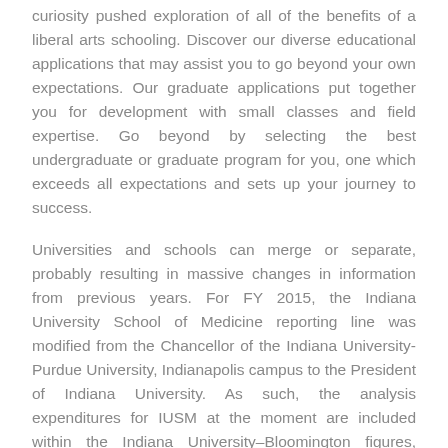curiosity pushed exploration of all of the benefits of a liberal arts schooling. Discover our diverse educational applications that may assist you to go beyond your own expectations. Our graduate applications put together you for development with small classes and field expertise. Go beyond by selecting the best undergraduate or graduate program for you, one which exceeds all expectations and sets up your journey to success.
Universities and schools can merge or separate, probably resulting in massive changes in information from previous years. For FY 2015, the Indiana University School of Medicine reporting line was modified from the Chancellor of the Indiana University-Purdue University, Indianapolis campus to the President of Indiana University. As such, the analysis expenditures for IUSM at the moment are included within the Indiana University–Bloomington figures, leading to a rise in total R&D expenditures of approximately $280 million for this campus. IUPUI total R&D expenditures